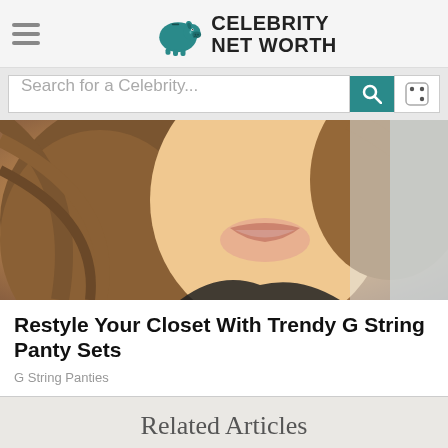[Figure (logo): Celebrity Net Worth website header with hamburger menu, pig logo icon, and site name 'CELEBRITY NET WORTH']
[Figure (screenshot): Search bar with placeholder 'Search for a Celebrity...', teal search button with magnifier icon, and white dice/random button]
[Figure (photo): Close-up photo of a smiling woman with long brown hair wearing a black top]
Restyle Your Closet With Trendy G String Panty Sets
G String Panties
Related Articles
[Figure (screenshot): Partial preview of a related article card with teal header bar and gray background with a circular avatar placeholder]